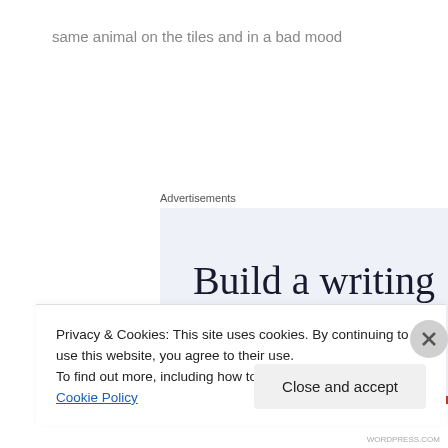same animal on the tiles and in a bad mood
Advertisements
[Figure (other): Advertisement banner with text 'Build a writing habit. Post on' on a light blue-grey background with a red bar at the bottom]
Privacy & Cookies: This site uses cookies. By continuing to use this website, you agree to their use.
To find out more, including how to control cookies, see here: Cookie Policy
Close and accept